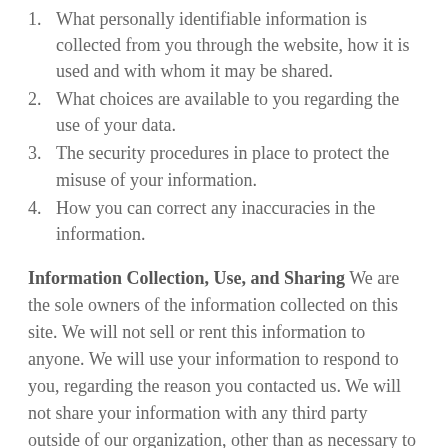1. What personally identifiable information is collected from you through the website, how it is used and with whom it may be shared.
2. What choices are available to you regarding the use of your data.
3. The security procedures in place to protect the misuse of your information.
4. How you can correct any inaccuracies in the information.
Information Collection, Use, and Sharing We are the sole owners of the information collected on this site. We will not sell or rent this information to anyone. We will use your information to respond to you, regarding the reason you contacted us. We will not share your information with any third party outside of our organization, other than as necessary to fulfill your request. Unless you ask us not to, we may contact you via email in the future to tell you about specials, new products or services, or changes to this privacy policy.
Your Access to and Control Over Information You may opt out of any future contacts from us at any time. You can do the following at any time by